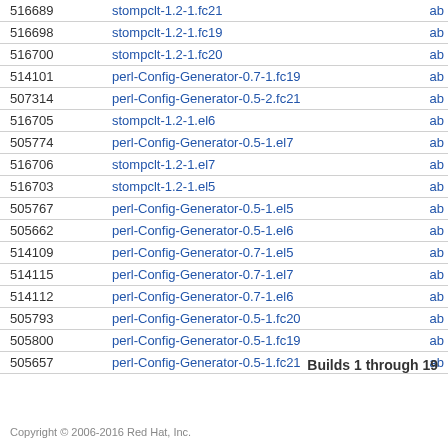| ID | Name |  |
| --- | --- | --- |
| 516689 | stompclt-1.2-1.fc21 | ab |
| 516698 | stompclt-1.2-1.fc19 | ab |
| 516700 | stompclt-1.2-1.fc20 | ab |
| 514101 | perl-Config-Generator-0.7-1.fc19 | ab |
| 507314 | perl-Config-Generator-0.5-2.fc21 | ab |
| 516705 | stompclt-1.2-1.el6 | ab |
| 505774 | perl-Config-Generator-0.5-1.el7 | ab |
| 516706 | stompclt-1.2-1.el7 | ab |
| 516703 | stompclt-1.2-1.el5 | ab |
| 505767 | perl-Config-Generator-0.5-1.el5 | ab |
| 505662 | perl-Config-Generator-0.5-1.el6 | ab |
| 514109 | perl-Config-Generator-0.7-1.el5 | ab |
| 514115 | perl-Config-Generator-0.7-1.el7 | ab |
| 514112 | perl-Config-Generator-0.7-1.el6 | ab |
| 505793 | perl-Config-Generator-0.5-1.fc20 | ab |
| 505800 | perl-Config-Generator-0.5-1.fc19 | ab |
| 505657 | perl-Config-Generator-0.5-1.fc21 | ab |
Builds 1 through 19
Copyright © 2006-2016 Red Hat, Inc.